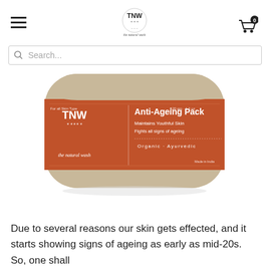TNW - the natural wash
[Figure (photo): TNW Anti-Ageing Pack product container (jar) with orange/rust colored label. Label reads: 'For all Skin Type', '120 gm · 4.2 oz', 'TNW', 'the natural wash', 'Anti-Ageing Pack', 'Maintains Youthful Skin', 'Fights all signs of ageing', 'Organic · Ayurvedic', 'Made in India'. The container has a beige/tan lid.]
Due to several reasons our skin gets effected, and it starts showing signs of ageing as early as mid-20s. So, one shall